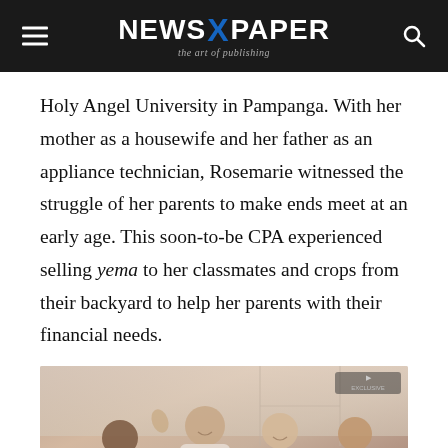NEWS X PAPER — the art of publishing
Holy Angel University in Pampanga. With her mother as a housewife and her father as an appliance technician, Rosemarie witnessed the struggle of her parents to make ends meet at an early age. This soon-to-be CPA experienced selling yema to her classmates and crops from their backyard to help her parents with their financial needs.
[Figure (photo): Group photo of people, likely students or young adults, gathered together in a room]